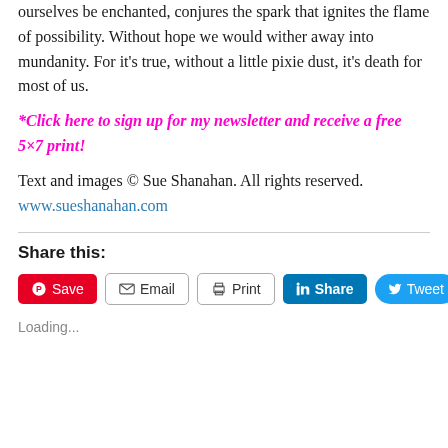ourselves be enchanted, conjures the spark that ignites the flame of possibility. Without hope we would wither away into mundanity. For it's true, without a little pixie dust, it's death for most of us.
*Click here to sign up for my newsletter and receive a free 5×7 print!
Text and images © Sue Shanahan. All rights reserved. www.sueshanahan.com
Share this:
[Figure (other): Social share buttons: Save (Pinterest), Email, Print, Share (LinkedIn), Tweet (Twitter)]
Loading...